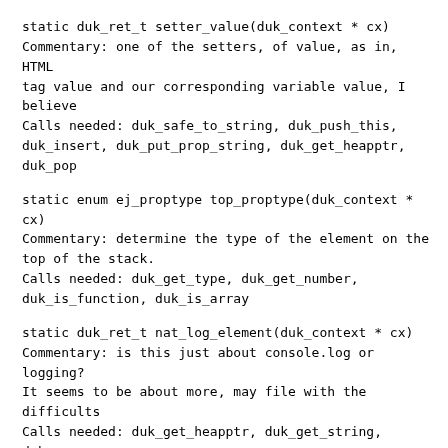static duk_ret_t setter_value(duk_context * cx)
Commentary: one of the setters, of value, as in, HTML
tag value and our corresponding variable value, I
believe
Calls needed: duk_safe_to_string, duk_push_this,
duk_insert, duk_put_prop_string, duk_get_heapptr,
duk_pop
static enum ej_proptype top_proptype(duk_context * cx)
Commentary: determine the type of the element on the
top of the stack.
Calls needed: duk_get_type, duk_get_number,
duk_is_function, duk_is_array
static duk_ret_t nat_log_element(duk_context * cx)
Commentary: is this just about console.log or logging?
It seems to be about more, may file with the difficults
Calls needed: duk_get_heapptr, duk_get_string, duk_pop,
duk_push_string, duk_push_c_function, duk_def_prop,
duk_put_prop_string
Binding:       duk_put_global_string(cx,
"eb$logElement");
static void objectize(duk_context *cx, Tag **tlist)
Commentary: turn an array of html tags into an array of
objects.  Leave the array on the duktape stack.
Calls needed: duk_get_global_string, duk_new,
duk_push_heapattr, duk_put_prop_index